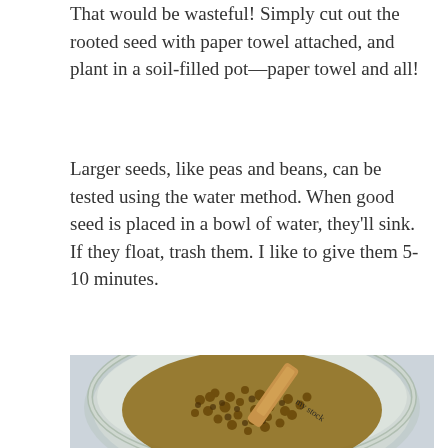That would be wasteful! Simply cut out the rooted seed with paper towel attached, and plant in a soil-filled pot—paper towel and all!
Larger seeds, like peas and beans, can be tested using the water method. When good seed is placed in a bowl of water, they'll sink. If they float, trash them. I like to give them 5-10 minutes.
[Figure (photo): Overhead view of a glass jar filled with small brown seeds, with a wooden stick or label resting diagonally across the top of the jar. The background is a light grey-blue surface.]